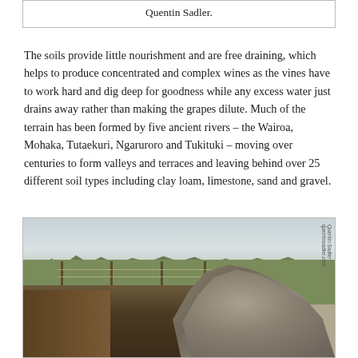Quentin Sadler.
The soils provide little nourishment and are free draining, which helps to produce concentrated and complex wines as the vines have to work hard and dig deep for goodness while any excess water just drains away rather than making the grapes dilute. Much of the terrain has been formed by five ancient rivers – the Wairoa, Mohaka, Tutaekuri, Ngaruroro and Tukituki – moving over centuries to form valleys and terraces and leaving behind over 25 different soil types including clay loam, limestone, sand and gravel.
[Figure (photo): Photograph of a vineyard soil excavation site showing a dug trench revealing layered soil profiles, with a large mound of gravel/rocky soil beside it, green field and treeline in the background. Watermark reads 'Quentin Sadler quentinsadler.com'.]